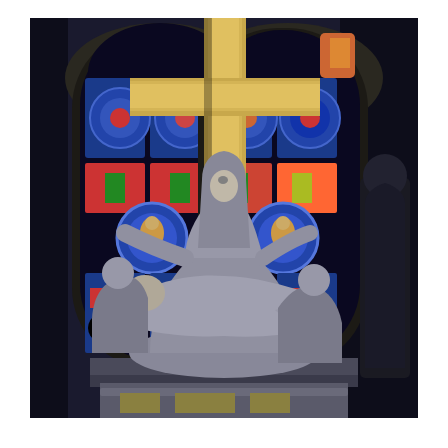[Figure (photo): Interior of a cathedral showing a Pietà sculpture group — the Virgin Mary seated, holding the body of Jesus Christ across her lap, flanked by two other figures — set against two large Gothic stained glass windows with colorful blue, red, green and white glass in geometric and figural patterns. A large golden cross rises between the windows. To the right, a dark bronze statue of a robed figure is partially visible. The setting is dimly lit, characteristic of a church interior.]